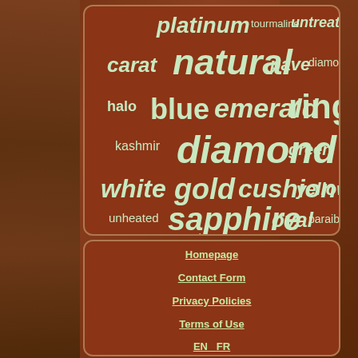[Figure (infographic): Word cloud of jewelry-related terms (platinum, tourmaline, untreated, carat, natural, pave, diamonds, halo, blue, emerald, ring, kashmir, diamond, green, white, gold, cushion, yellow, unheated, sapphire, oval, paraiba, color, pear) displayed on a dark reddish-brown rounded rectangle panel, with varying font sizes indicating frequency/importance. Background is a blurred outdoor/nature photo.]
Homepage
Contact Form
Privacy Policies
Terms of Use
EN   FR